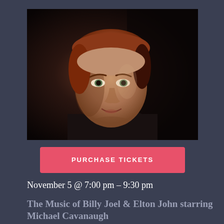[Figure (photo): Headshot of Michael Cavanaugh, a young man with reddish-brown hair wearing a black shirt, photographed against a dark background]
PURCHASE TICKETS
November 5 @ 7:00 pm - 9:30 pm
The Music of Billy Joel & Elton John starring Michael Cavanaugh